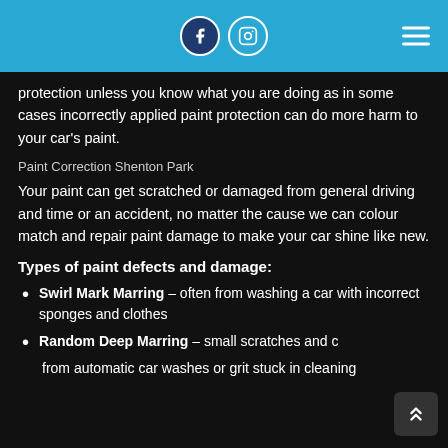Social media icons (Facebook, Instagram) and hamburger menu on blue header bar
protection unless you know what you are doing as in some cases incorrectly applied paint protection can do more harm to your car's paint.
Paint Correction Shenton Park
Your paint can get scratched or damaged from general driving and time or an accident, no matter the cause we can colour match and repair paint damage to make your car shine like new.
Types of paint defects and damage:
Swirl Mark Marring – often from washing a car with incorrect sponges and clothes
Random Deep Marring – small scratches and c... from automatic car washes or grit stuck in cleaning...